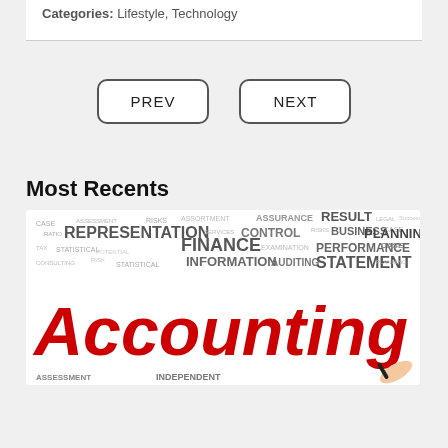Categories: Lifestyle, Technology
PREV
NEXT
Most Recents
[Figure (photo): Word cloud image with finance-related terms (REPRESENTATION, STATISTICAL, INFORMATION, FINANCE, RESULT, CONTROL, PERFORMANCE, STATEMENT, AUDITING, BUSINESS, PLANNING, CASE, ASSESSMENT, INDEPENDENT) and large red handwritten text 'ACCOUNTING' with a hand holding a pen at bottom right.]